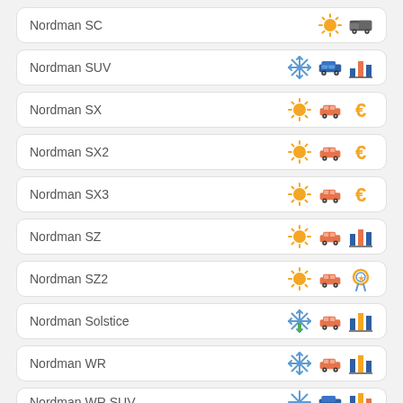Nordman SC
Nordman SUV
Nordman SX
Nordman SX2
Nordman SX3
Nordman SZ
Nordman SZ2
Nordman Solstice
Nordman WR
Nordman WR SUV